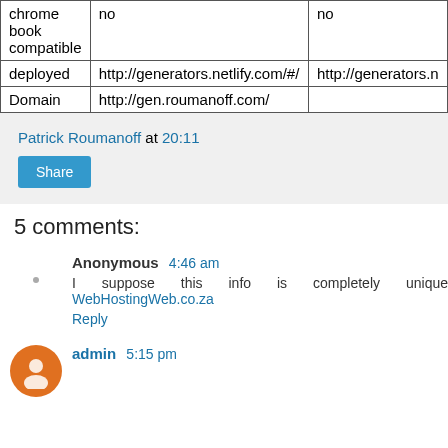|  |  |  |
| --- | --- | --- |
| chrome book compatible | no | no |
| deployed | http://generators.netlify.com/#/ | http://generators.n |
| Domain | http://gen.roumanoff.com/ |  |
Patrick Roumanoff at 20:11
Share
5 comments:
Anonymous 4:46 am
I suppose this info is completely unique WebHostingWeb.co.za
Reply
admin 5:15 pm